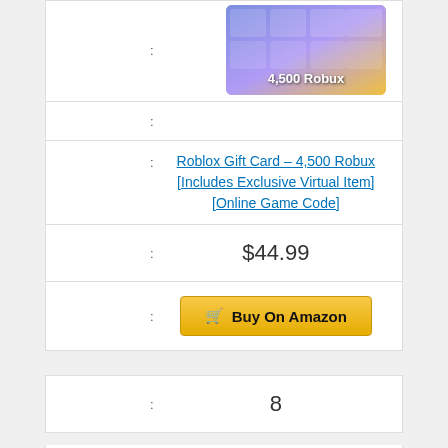[Figure (photo): Roblox Gift Card image showing 4,500 Robux with colorful game thumbnail grid on gradient background]
Roblox Gift Card – 4,500 Robux [Includes Exclusive Virtual Item] [Online Game Code]
$44.99
Buy On Amazon
8
[Figure (logo): GameStop logo on black background with tagline POWER TO THE PLAYERS®]